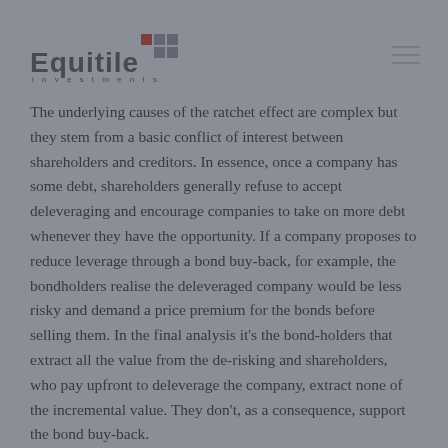Equitile Investments
The underlying causes of the ratchet effect are complex but they stem from a basic conflict of interest between shareholders and creditors. In essence, once a company has some debt, shareholders generally refuse to accept deleveraging and encourage companies to take on more debt whenever they have the opportunity. If a company proposes to reduce leverage through a bond buy-back, for example, the bondholders realise the deleveraged company would be less risky and demand a price premium for the bonds before selling them. In the final analysis it's the bond-holders that extract all the value from the de-risking and shareholders, who pay upfront to deleverage the company, extract none of the incremental value. They don't, as a consequence, support the bond buy-back.